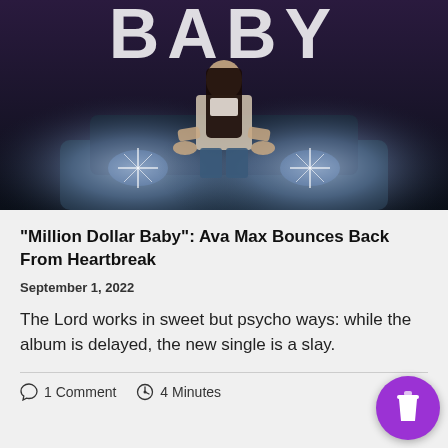[Figure (photo): A young woman with long dark hair sitting on the hood of a dark car with bright headlights, wearing jeans and a white top. Text 'BABY' visible at top of image.]
“Million Dollar Baby”: Ava Max Bounces Back From Heartbreak
September 1, 2022
The Lord works in sweet but psycho ways: while the album is delayed, the new single is a slay.
1 Comment  4 Minutes